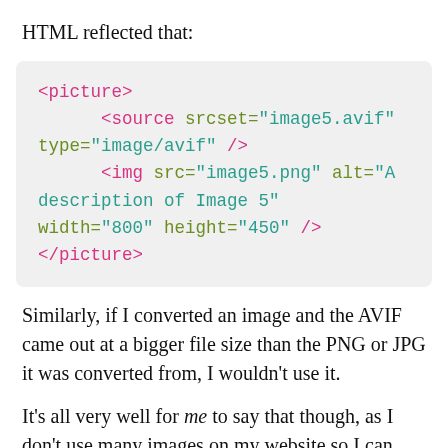HTML reflected that:
[Figure (screenshot): Code block showing HTML picture element with source and img tags using image5.avif and image5.png]
Similarly, if I converted an image and the AVIF came out at a bigger file size than the PNG or JPG it was converted from, I wouldn't use it.
It's all very well for me to say that though, as I don't use many images on my website so I can